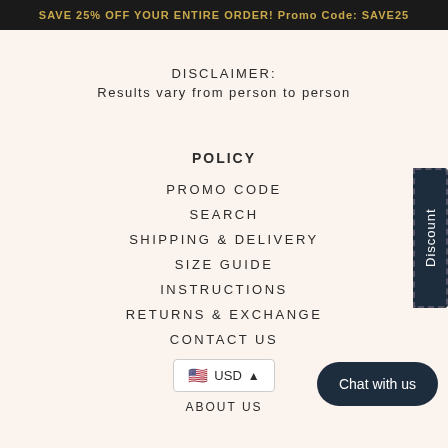SAVE 25% OFF YOUR ENTIRE ORDER! Promo Code: SAVE25
DISCLAIMER:
Results vary from person to person
POLICY
PROMO CODE
SEARCH
SHIPPING & DELIVERY
SIZE GUIDE
INSTRUCTIONS
RETURNS & EXCHANGE
CONTACT US
USD
ABOUT US